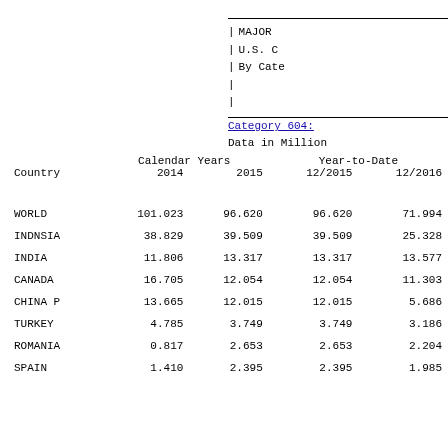MAJOR
U.S. C
By Cate
Category 604:
Data in Million
| Country | 2014 | 2015 | 12/2015 | 12/2016 |
| --- | --- | --- | --- | --- |
| WORLD | 101.023 | 96.620 | 96.620 | 71.994 |
| INDNSIA | 38.829 | 39.509 | 39.509 | 25.328 |
| INDIA | 11.806 | 13.317 | 13.317 | 13.577 |
| CANADA | 16.705 | 12.054 | 12.054 | 11.303 |
| CHINA P | 13.665 | 12.015 | 12.015 | 5.686 |
| TURKEY | 4.785 | 3.749 | 3.749 | 3.186 |
| ROMANIA | 0.817 | 2.653 | 2.653 | 2.204 |
| SPAIN | 1.410 | 2.395 | 2.395 | 1.985 |